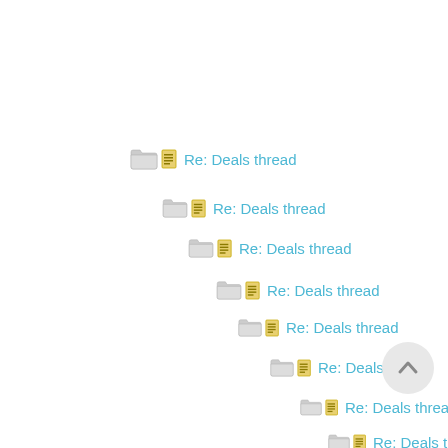Re: Deals thread
Re: Deals thread
Re: Deals thread
Re: Deals thread
Re: Deals thread
Re: Deals thread
Re: Deals thread
Re: Deals thread